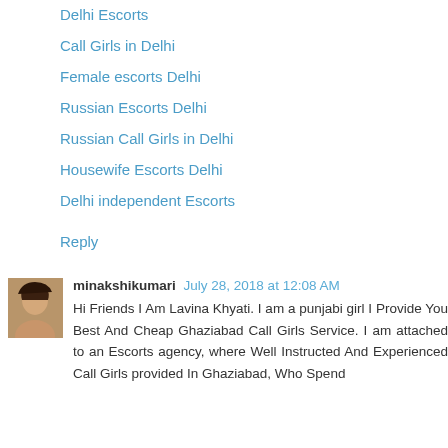Delhi Escorts
Call Girls in Delhi
Female escorts Delhi
Russian Escorts Delhi
Russian Call Girls in Delhi
Housewife Escorts Delhi
Delhi independent Escorts
Reply
minakshikumari   July 28, 2018 at 12:08 AM
Hi Friends I Am Lavina Khyati. I am a punjabi girl I Provide You Best And Cheap Ghaziabad Call Girls Service. I am attached to an Escorts agency, where Well Instructed And Experienced Call Girls provided In Ghaziabad, Who Spend